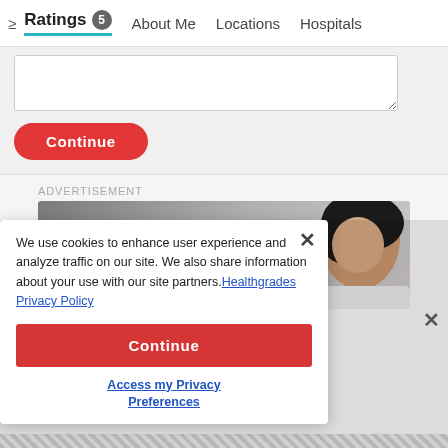Ratings 5  About Me  Locations  Hospitals
[Figure (screenshot): Text input textarea box for rating form]
Continue
ADVERTISEMENT
[Figure (photo): Advertisement banner showing '5-star' text with woman's face]
We use cookies to enhance user experience and analyze traffic on our site. We also share information about your use with our site partners. Healthgrades Privacy Policy
Continue
Access my Privacy Preferences